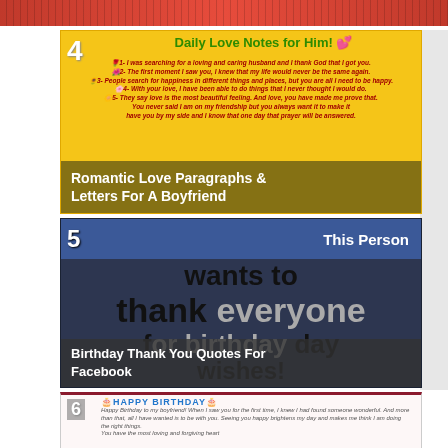[Figure (illustration): Top decorative red strip with repeating pattern]
[Figure (illustration): Card 4: Daily Love Notes for Him - yellow background with romantic love notes text in red italic, numbered list items. Overlay text: Romantic Love Paragraphs & Letters For A Boyfriend]
Romantic Love Paragraphs & Letters For A Boyfriend
[Figure (illustration): Card 5: This Person wants to thank everyone for birthday wishes - Facebook-style image with blue header and dark background. Overlay: Birthday Thank You Quotes For Facebook]
Birthday Thank You Quotes For Facebook
[Figure (illustration): Card 6: Happy Birthday to my boyfriend letter with colorful Happy Birthday text and cursive message about loving someone]